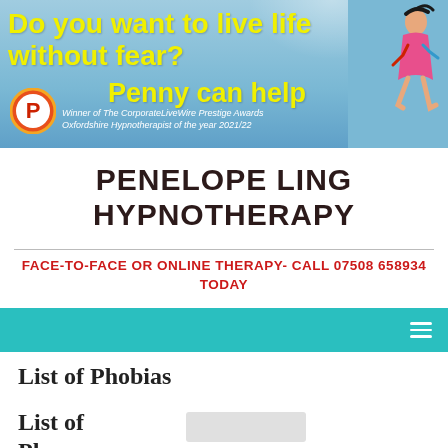[Figure (photo): Promotional banner with sky-blue background showing a jumping person on the right, yellow bold text 'Do you want to live life without fear?' and 'Penny can help', with a circular P logo and award text for Penelope Ling Hypnotherapy.]
PENELOPE LING HYPNOTHERAPY
FACE-TO-FACE OR ONLINE THERAPY- CALL 07508 658934 TODAY
[Figure (screenshot): Teal navigation bar with hamburger menu icon on the right.]
List of Phobias
List of Phobias